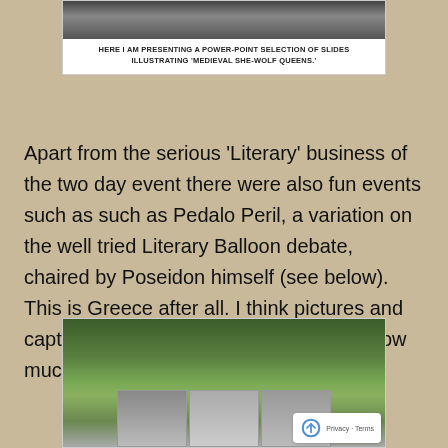[Figure (photo): Photo of a person presenting slides, shown at top of page]
HERE I AM PRESENTING A POWER-POINT SELECTION OF SLIDES ILLUSTRATING 'MEDIEVAL SHE-WOLF QUEENS.'
Apart from the serious ‘Literary’ business of the two day event there were also fun events such as such as Pedalo Peril, a variation on the well tried Literary Balloon debate, chaired by Poseidon himself (see below). This is Greece after all. I think pictures and captions explain better than words just how much fun this whole event was.
[Figure (photo): Outdoor photo showing trees and people at an event, with sub-photos visible at bottom]